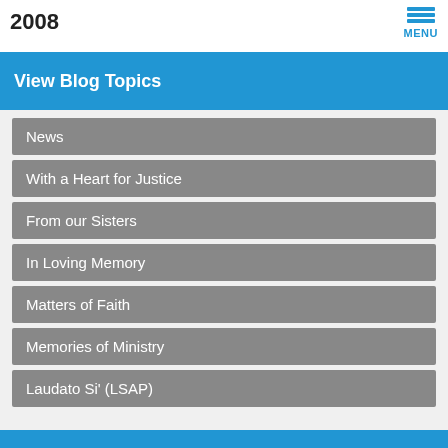2008
View Blog Topics
News
With a Heart for Justice
From our Sisters
In Loving Memory
Matters of Faith
Memories of Ministry
Laudato Si' (LSAP)
Grey Nun Blog & News
Laudato Si' Videos